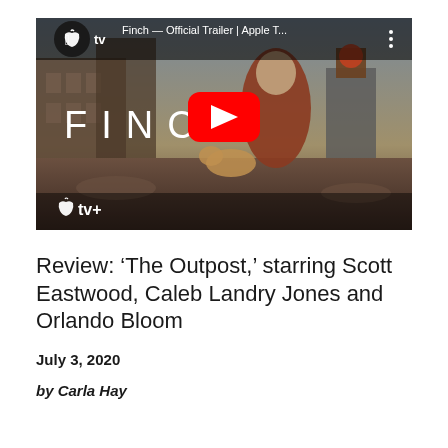[Figure (screenshot): YouTube video thumbnail for 'Finch — Official Trailer | Apple T...' showing the Apple TV logo in a dark circle top-left, the video title, a three-dot menu icon top-right, a red YouTube play button in the center, the word FINCH in large white letters, an Apple TV+ logo bottom-left, and a post-apocalyptic scene with a man in a red jacket, a dog, and a robot against a desolate cityscape background.]
Review: 'The Outpost,' starring Scott Eastwood, Caleb Landry Jones and Orlando Bloom
July 3, 2020
by Carla Hay